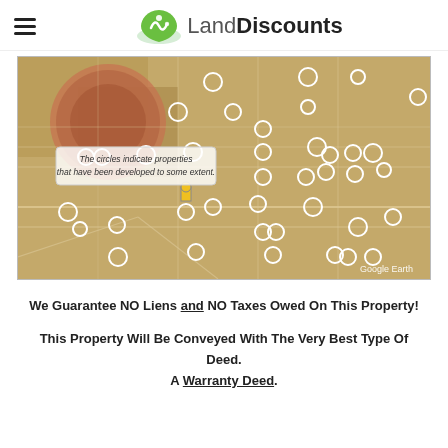LandDiscounts
[Figure (map): Google Earth aerial/satellite map view of land parcels with white circle markers indicating properties that have been developed to some extent. A tooltip reads: 'The circles indicate properties that have been developed to some extent.' A yellow marker is visible near the center. Credit: Google Earth.]
We Guarantee NO Liens and NO Taxes Owed On This Property!
This Property Will Be Conveyed With The Very Best Type Of Deed. A Warranty Deed.